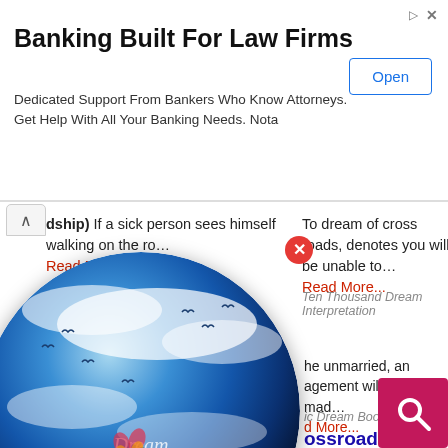[Figure (screenshot): Advertisement banner for Nota banking services for law firms with 'Open' button]
Banking Built For Law Firms
Dedicated Support From Bankers Who Know Attorneys. Get Help With All Your Banking Needs. Nota
(dship) If a sick person sees himself walking on the ro… Read More...
Islamic Dream Interpretation
To dream of cross roads, denotes you will be unable to… Read More...
Ten Thousand Dream Interpretation
Cross... oss-roads
Sy... he unmarried, an agement will soon be mad… d More... ic Dream Book
ossroad
s symbol means what it icates, and you'll soon be… ead More...
The Complete Guide to Interpreting Your Dreams
[Figure (illustration): Dream Encyclopedia globe illustration with blue world globe, clouds, birds, and Dream Encyclopedia watermark text]